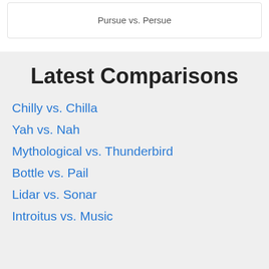Pursue vs. Persue
Latest Comparisons
Chilly vs. Chilla
Yah vs. Nah
Mythological vs. Thunderbird
Bottle vs. Pail
Lidar vs. Sonar
Introitus vs. Music